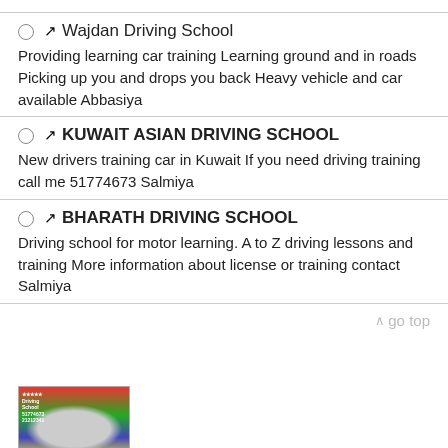Wajdan Driving School
Providing learning car training Learning ground and in roads Picking up you and drops you back Heavy vehicle and car available Abbasiya
KUWAIT ASIAN DRIVING SCHOOL
New drivers training car in Kuwait If you need driving training call me 51774673 Salmiya
BHARATH DRIVING SCHOOL
Driving school for motor learning. A to Z driving lessons and training More information about license or training contact Salmiya
[Figure (photo): Colorful advertisement image for a driving school with a car and text]